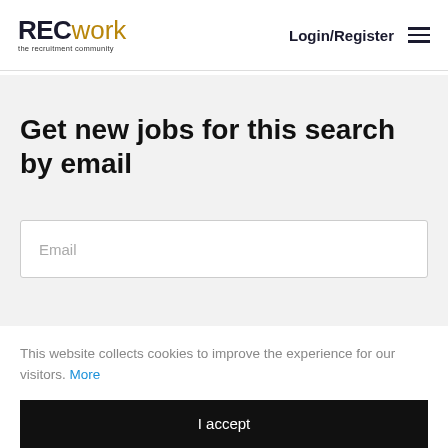RECwork the recruitment community | Login/Register
Get new jobs for this search by email
Email
This website collects cookies to improve the experience for our visitors. More
I accept